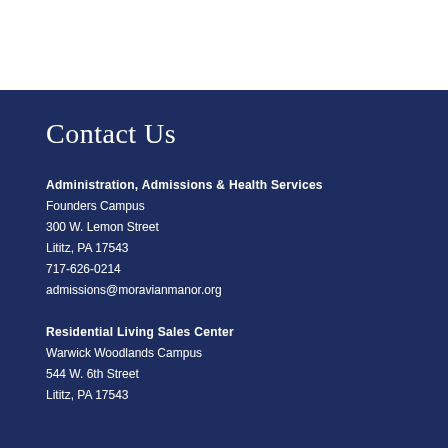Contact Us
Administration, Admissions & Health Services
Founders Campus
300 W. Lemon Street
Lititz, PA 17543
717-626-0214
admissions@moravianmanor.org
Residential Living Sales Center
Warwick Woodlands Campus
544 W. 6th Street
Lititz, PA 17543